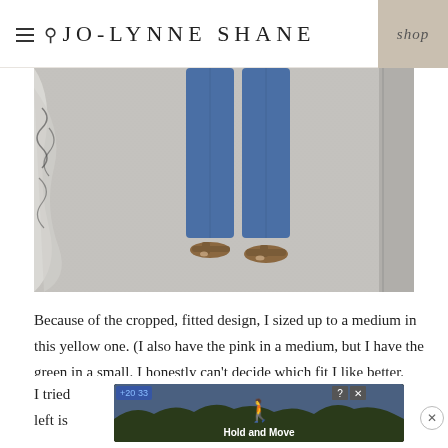JO-LYNNE SHANE
[Figure (photo): Overhead/close-up view of a person's lower body wearing wide-leg blue jeans and brown sandals, standing on a light gray carpet.]
Because of the cropped, fitted design, I sized up to a medium in this yellow one. (I also have the pink in a medium, but I have the green in a small. I honestly can't decide which fit I like better. They both work, but there's more room to move around in the medium.)
I tried                                                            the left is                                                           ew